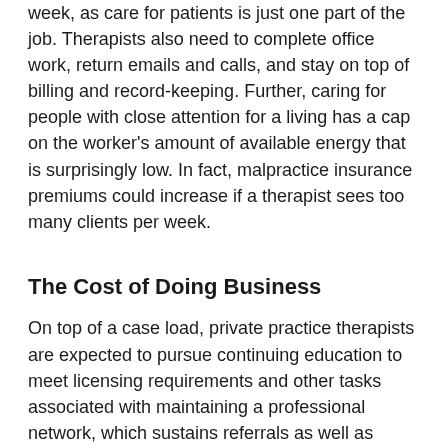week, as care for patients is just one part of the job. Therapists also need to complete office work, return emails and calls, and stay on top of billing and record-keeping. Further, caring for people with close attention for a living has a cap on the worker's amount of available energy that is surprisingly low. In fact, malpractice insurance premiums could increase if a therapist sees too many clients per week.
The Cost of Doing Business
On top of a case load, private practice therapists are expected to pursue continuing education to meet licensing requirements and other tasks associated with maintaining a professional network, which sustains referrals as well as develops one professionally. Many therapists pursue teaching, presenting at conferences, consulting, podcasting, or writing to fulfill this need, most of which is unpaid time. Plus, private practice therapists are running their own small businesses,